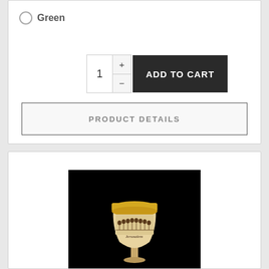Green
1
+ ADD TO CART -
PRODUCT DETAILS
[Figure (photo): A small decorative goblet/chalice with a gold rim and an engraving of The Last Supper scene with text 'Jerusalem', photographed against a black background.]